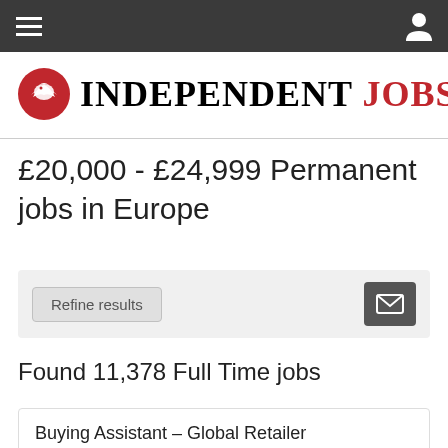Navigation bar with hamburger menu and user icon
[Figure (logo): Independent Jobs logo with red circle eagle icon and bold serif text 'INDEPENDENT JOBS' where JOBS is in red]
£20,000 - £24,999 Permanent jobs in Europe
Refine results [envelope icon button]
Found 11,378 Full Time jobs
Buying Assistant – Global Retailer